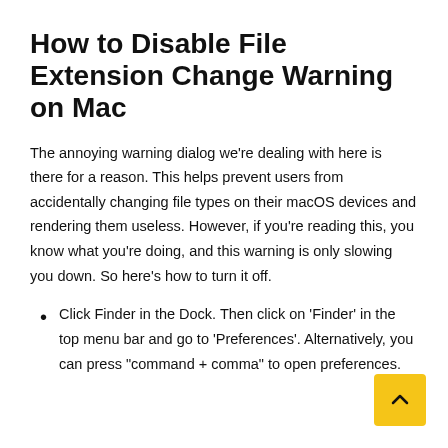How to Disable File Extension Change Warning on Mac
The annoying warning dialog we’re dealing with here is there for a reason. This helps prevent users from accidentally changing file types on their macOS devices and rendering them useless. However, if you’re reading this, you know what you’re doing, and this warning is only slowing you down. So here’s how to turn it off.
Click Finder in the Dock. Then click on ‘Finder’ in the top menu bar and go to ‘Preferences’. Alternatively, you can press “command + comma” to open preferences.